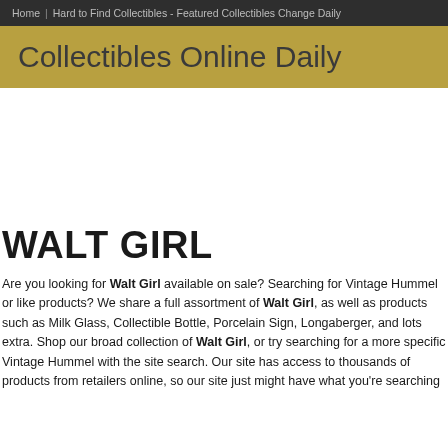Home | Hard to Find Collectibles - Featured Collectibles Change Daily
Collectibles Online Daily
WALT GIRL
Are you looking for Walt Girl available on sale? Searching for Vintage Hummel or like products? We share a full assortment of Walt Girl, as well as products such as Milk Glass, Collectible Bottle, Porcelain Sign, Longaberger, and lots extra. Shop our broad collection of Walt Girl, or try searching for a more specific Vintage Hummel with the site search. Our site has access to thousands of products from retailers online, so our site just might have what you're searching